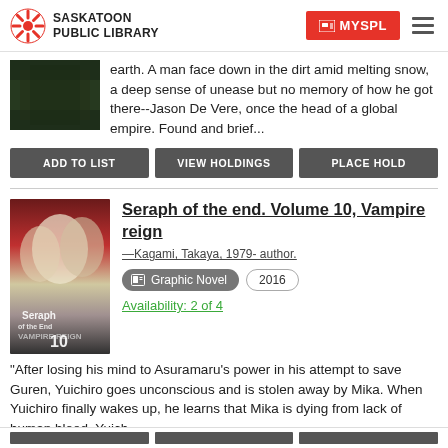Saskatoon Public Library | MYSPL
earth. A man face down in the dirt amid melting snow, a deep sense of unease but no memory of how he got there--Jason De Vere, once the head of a global empire. Found and brief...
ADD TO LIST | VIEW HOLDINGS | PLACE HOLD
Seraph of the end. Volume 10, Vampire reign
—Kagami, Takaya, 1979- author.
Graphic Novel  2016
Availability: 2 of 4
"After losing his mind to Asuramaru's power in his attempt to save Guren, Yuichiro goes unconscious and is stolen away by Mika. When Yuichiro finally wakes up, he learns that Mika is dying from lack of human blood. Yuich...